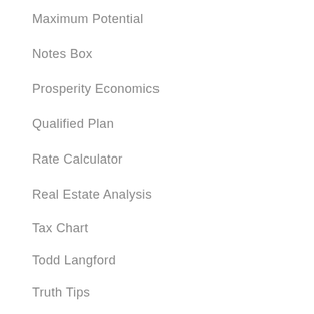Maximum Potential
Notes Box
Prosperity Economics
Qualified Plan
Rate Calculator
Real Estate Analysis
Tax Chart
Todd Langford
Truth Tips
Truth Training
Tutorial Transcriptions